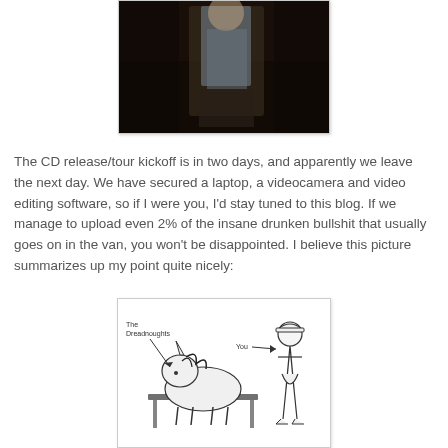[Figure (photo): Partial photo of a person wearing a plaid shirt and dark pants, standing indoors in a dark environment]
The CD release/tour kickoff is in two days, and apparently we leave the next day. We have secured a laptop, a videocamera and video editing software, so if I were you, I'd stay tuned to this blog. If we manage to upload even 2% of the insane drunken bullshit that usually goes on in the van, you won't be disappointed. I believe this picture summarizes up my point quite nicely:
[Figure (illustration): Black and white illustration labeled 'The Dreadnoughts' pointing to a unicorn lying on a table, and 'You' pointing to a cowgirl figure standing nearby]